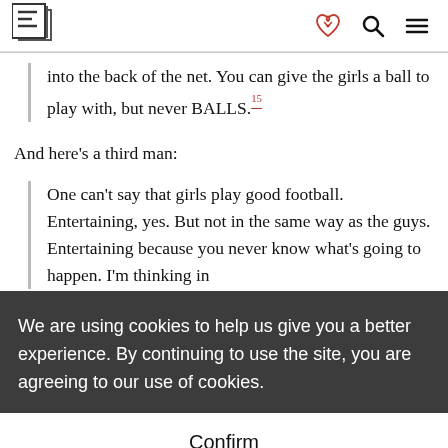into the back of the net. You can give the girls a ball to play with, but never BALLS.[15]
And here’s a third man:
One can’t say that girls play good football. Entertaining, yes. But not in the same way as the guys. Entertaining because you never know what’s going to happen. I’m thinking in [text continues]
We are using cookies to help us give you a better experience. By continuing to use the site, you are agreeing to our use of cookies.
Confirm
The three bloggers are sharing in an old-